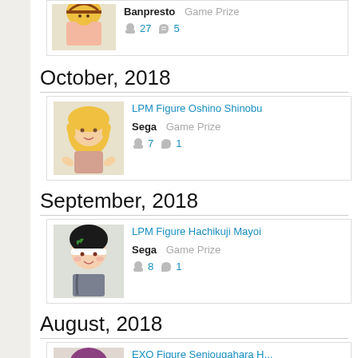[Figure (screenshot): Partial anime figure item card at top of page: blonde hair figure, manufacturer Banpresto, type Game Prize, 27 owners]
October, 2018
[Figure (screenshot): Item card: LPM Figure Oshino Shinobu, blonde elf-ear figure, Sega, Game Prize, 7 owners]
September, 2018
[Figure (screenshot): Item card: LPM Figure Hachikuji Mayoi, dark-haired figure with headband, Sega, Game Prize, 8 owners]
August, 2018
[Figure (screenshot): Item card: EXQ Figure Senjougahara H... Daijiten Ver., purple-haired figure, Banpresto, Game Prize, 12 owners]